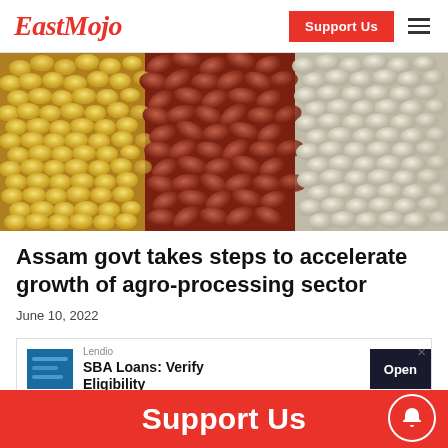EastMojo | Support Us
[Figure (photo): Close-up photograph of mixed beans and legumes: yellow soybeans on left, red kidney beans in center, white/light green beans on right]
Assam govt takes steps to accelerate growth of agro-processing sector
June 10, 2022
[Figure (screenshot): Advertisement banner: Lendio - SBA Loans: Verify Eligibility with Open button]
Support Us